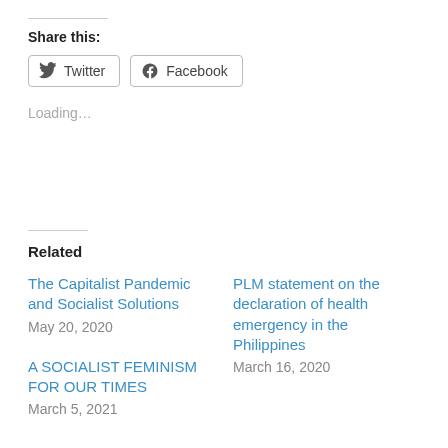Share this:
Twitter  Facebook
Loading…
Related
The Capitalist Pandemic and Socialist Solutions
May 20, 2020
PLM statement on the declaration of health emergency in the Philippines
March 16, 2020
A SOCIALIST FEMINISM FOR OUR TIMES
March 5, 2021